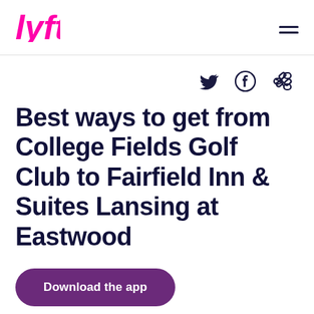Lyft logo and navigation menu
[Figure (logo): Lyft logo in pink/magenta with hamburger menu icon on the right]
[Figure (infographic): Social share icons: Twitter bird, Facebook circle, and link/chain icon]
Best ways to get from College Fields Golf Club to Fairfield Inn & Suites Lansing at Eastwood
Download the app